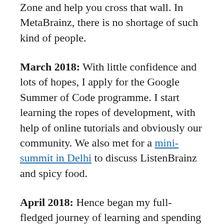Zone and help you cross that wall. In MetaBrainz, there is no shortage of such kind of people.
March 2018: With little confidence and lots of hopes, I apply for the Google Summer of Code programme. I start learning the ropes of development, with help of online tutorials and obviously our community. We also met for a mini-summit in Delhi to discuss ListenBrainz and spicy food.
April 2018: Hence began my full-fledged journey of learning and spending a summer of coding. It wasn't easy, but I learned a lot in the process.